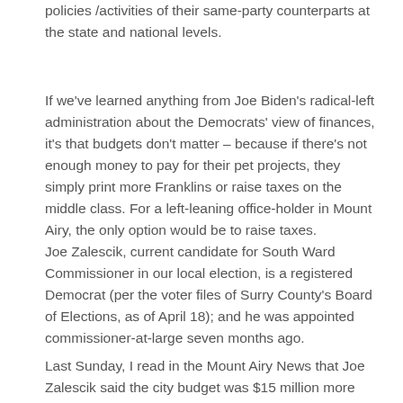policies /activities of their same-party counterparts at the state and national levels.
If we've learned anything from Joe Biden's radical-left administration about the Democrats' view of finances, it's that budgets don't matter – because if there's not enough money to pay for their pet projects, they simply print more Franklins or raise taxes on the middle class. For a left-leaning office-holder in Mount Airy, the only option would be to raise taxes.
Joe Zalescik, current candidate for South Ward Commissioner in our local election, is a registered Democrat (per the voter files of Surry County's Board of Elections, as of April 18); and he was appointed commissioner-at-large seven months ago.
Last Sunday, I read in the Mount Airy News that Joe Zalescik said the city budget was $15 million more than it actually is … and then, when that error was brought to his attention, he casually brushed it off as a "minor mistake." News flash: being $15 million off the mark